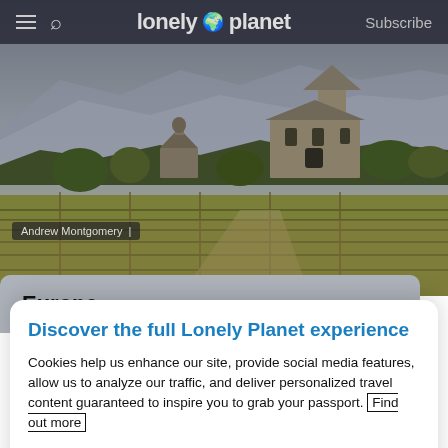lonely planet  Subscribe
[Figure (photo): Scenic landscape photo showing an ancient stone church/monastery with a conical tower and main hall, surrounded by green vineyards and trees, with hazy blue-grey mountains in the background under a cloudy sky. Photo credit: Andrew Montgomery.]
Andrew Montgomery
Europe
Discover the full Lonely Planet experience
Cookies help us enhance our site, provide social media features, allow us to analyze our traffic, and deliver personalized travel content guaranteed to inspire you to grab your passport.  Find out more
Review Cookie Settings
Accept Cookies